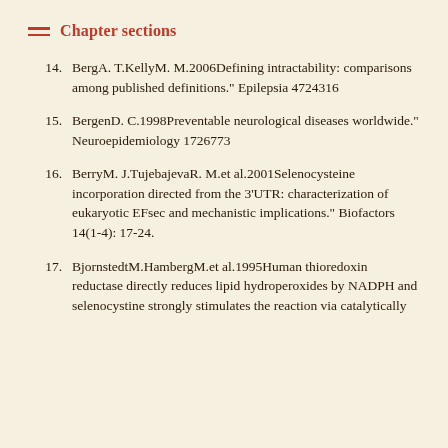Chapter sections
14. BergA. T.KellyM. M.2006Defining intractability: comparisons among published definitions." Epilepsia 4724316
15. BergenD. C.1998Preventable neurological diseases worldwide." Neuroepidemiology 1726773
16. BerryM. J.TujebajevaR. M.et al.2001Selenocysteine incorporation directed from the 3'UTR: characterization of eukaryotic EFsec and mechanistic implications." Biofactors 14(1-4): 17-24.
17. BjornstedtM.HambergM.et al.1995Human thioredoxin reductase directly reduces lipid hydroperoxides by NADPH and selenocystine strongly stimulates the reaction via catalytically